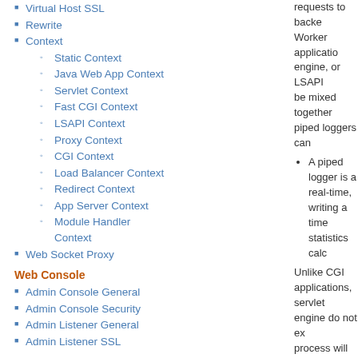Virtual Host SSL
Rewrite
Context
Static Context
Java Web App Context
Servlet Context
Fast CGI Context
LSAPI Context
Proxy Context
CGI Context
Load Balancer Context
Redirect Context
App Server Context
Module Handler Context
Web Socket Proxy
Web Console
Admin Console General
Admin Console Security
Admin Listener General
Admin Listener SSL
requests to backe… Worker applicatio… engine, or LSAPI … be mixed together… piped loggers can…
A piped logger is a… real-time, writing a… time statistics calc…
Unlike CGI applications, servlet engine do not ex… process will stay/persist… socket connection can b… applications can be set … applications cannot, hov… must be configured so th… to which application. Th… Web Server:
1. Set the external a…
2. Set the external a… suffix binding.
FastCGI applications, LS… and load balancers have… section before you can c… It is not necessary to de… section. External applica…